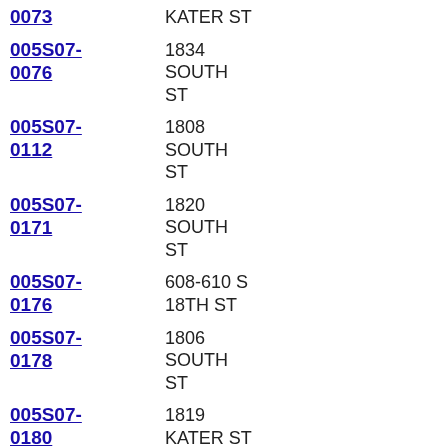0073 | KATER ST
005S07-0076 | 1834 SOUTH ST
005S07-0112 | 1808 SOUTH ST
005S07-0171 | 1820 SOUTH ST
005S07-0176 | 608-610 S 18TH ST
005S07-0178 | 1806 SOUTH ST
005S07-0180 | 1819 KATER ST
005S07-0183 | 1838 SOUTH ST
005S07-0201 | 1832 SOUTH ST